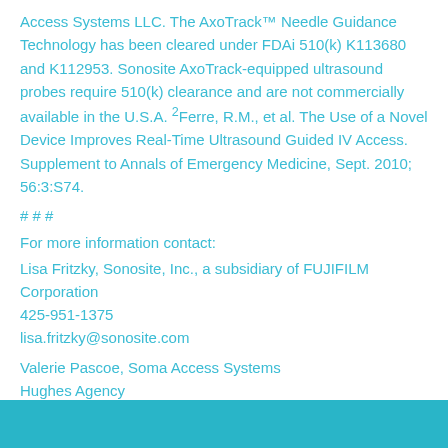Access Systems LLC. The AxoTrack™ Needle Guidance Technology has been cleared under FDAi 510(k) K113680 and K112953. Sonosite AxoTrack-equipped ultrasound probes require 510(k) clearance and are not commercially available in the U.S.A. 2Ferre, R.M., et al. The Use of a Novel Device Improves Real-Time Ultrasound Guided IV Access. Supplement to Annals of Emergency Medicine, Sept. 2010; 56:3:S74.
# # #
For more information contact:
Lisa Fritzky, Sonosite, Inc., a subsidiary of FUJIFILM Corporation
425-951-1375
lisa.fritzky@sonosite.com
Valerie Pascoe, Soma Access Systems
Hughes Agency
864-230-4791
Valeriep@hughes-agency.com